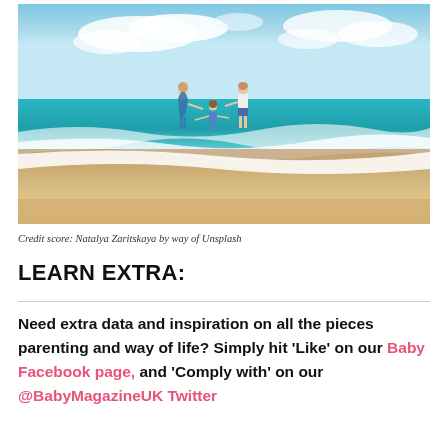[Figure (photo): A family of three — two adults and a child — standing at the ocean shoreline on a sandy beach, holding hands and facing the sea. Waves wash around their feet. Bright blue sky with clouds above turquoise water.]
Credit score: Natalya Zaritskaya by way of Unsplash
LEARN EXTRA:
Need extra data and inspiration on all the pieces parenting and way of life? Simply hit 'Like' on our Baby Facebook page, and 'Comply with' on our @BabyMagazineUK Twitter